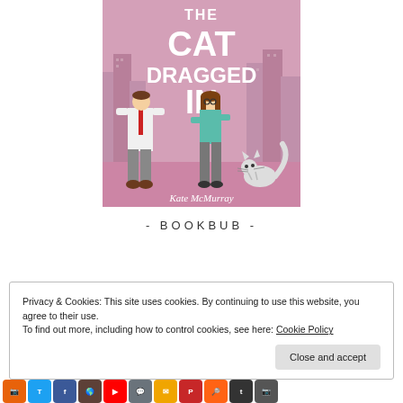[Figure (illustration): Book cover for 'The Cat Dragged In' by Kate McMurray showing a man and woman standing back to back with a cat, pink/mauve background with city skyline]
- BOOKBUB -
[Figure (logo): Red BookBub 'Follow me on BookBub' button with BB logo]
Privacy & Cookies: This site uses cookies. By continuing to use this website, you agree to their use.
To find out more, including how to control cookies, see here: Cookie Policy
Close and accept